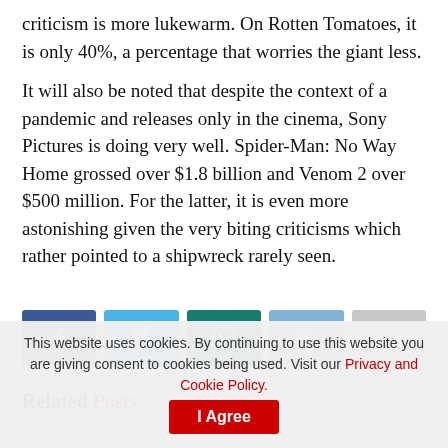criticism is more lukewarm. On Rotten Tomatoes, it is only 40%, a percentage that worries the giant less.
It will also be noted that despite the context of a pandemic and releases only in the cinema, Sony Pictures is doing very well. Spider-Man: No Way Home grossed over $1.8 billion and Venom 2 over $500 million. For the latter, it is even more astonishing given the very biting criticisms which rather pointed to a shipwreck rarely seen.
[Figure (infographic): Social sharing buttons: Facebook, Twitter, WhatsApp, Reddit, Share]
Related Posts
This website uses cookies. By continuing to use this website you are giving consent to cookies being used. Visit our Privacy and Cookie Policy. I Agree